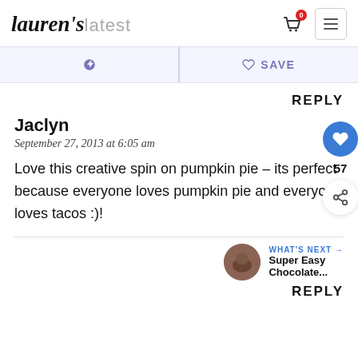Lauren's latest
Pinterest | SAVE
REPLY
Jaclyn
September 27, 2013 at 6:05 am
Love this creative spin on pumpkin pie – its perfect because everyone loves pumpkin pie and everyone loves tacos :)!
WHAT'S NEXT → Super Easy Chocolate...
REPLY